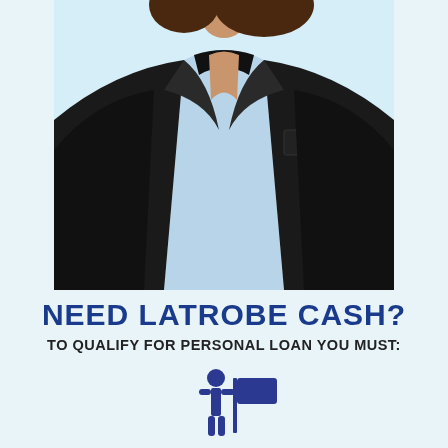[Figure (photo): Professional woman in black blazer and light blue shirt against light blue background, photo cropped to show torso/shoulders]
NEED LATROBE CASH?
TO QUALIFY FOR PERSONAL LOAN YOU MUST:
[Figure (infographic): Icon of a person standing next to a sign/flag, rendered in dark navy blue]